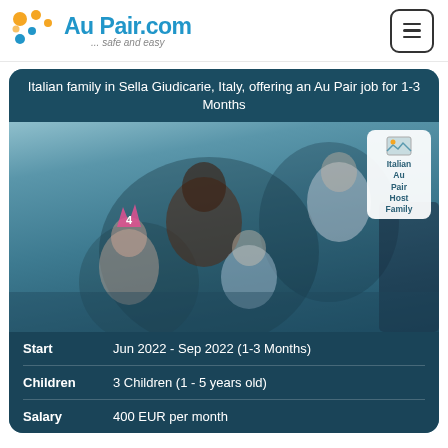Au Pair.com ... safe and easy
Italian family in Sella Giudicarie, Italy, offering an Au Pair job for 1-3 Months
[Figure (photo): Family photo showing a woman and three children, one child wearing a pink birthday crown with the number 4, man in background wearing glasses]
Italian Au Pair Host Family
Start: Jun 2022 - Sep 2022 (1-3 Months)
Children: 3 Children (1 - 5 years old)
Salary: 400 EUR per month